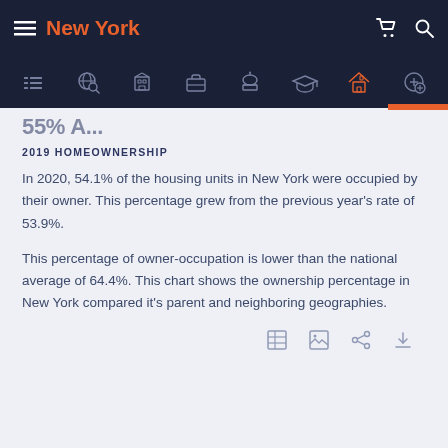New York
2019 HOMEOWNERSHIP
In 2020, 54.1% of the housing units in New York were occupied by their owner. This percentage grew from the previous year's rate of 53.9%.
This percentage of owner-occupation is lower than the national average of 64.4%. This chart shows the ownership percentage in New York compared it's parent and neighboring geographies.